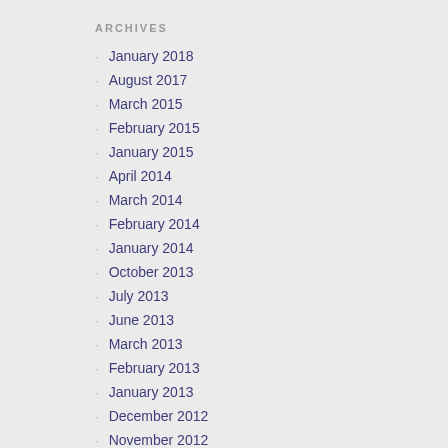ARCHIVES
January 2018
August 2017
March 2015
February 2015
January 2015
April 2014
March 2014
February 2014
January 2014
October 2013
July 2013
June 2013
March 2013
February 2013
January 2013
December 2012
November 2012